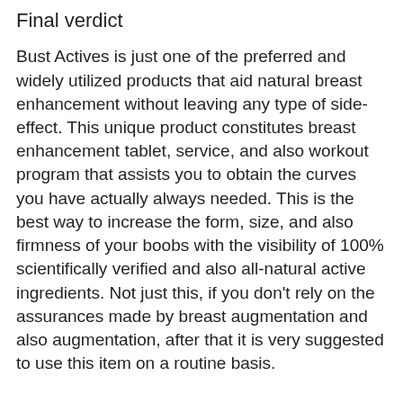Final verdict
Bust Actives is just one of the preferred and widely utilized products that aid natural breast enhancement without leaving any type of side-effect. This unique product constitutes breast enhancement tablet, service, and also workout program that assists you to obtain the curves you have actually always needed. This is the best way to increase the form, size, and also firmness of your boobs with the visibility of 100% scientifically verified and also all-natural active ingredients. Not just this, if you don't rely on the assurances made by breast augmentation and also augmentation, after that it is very suggested to use this item on a routine basis.